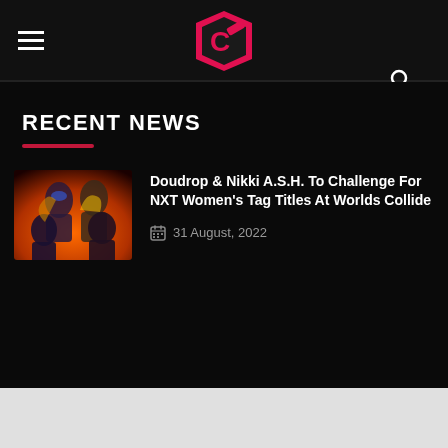Cultaholic — navigation header with hamburger menu, logo, and search icon
RECENT NEWS
[Figure (photo): WWE women wrestlers promotional photo with fiery background]
Doudrop & Nikki A.S.H. To Challenge For NXT Women's Tag Titles At Worlds Collide
31 August, 2022